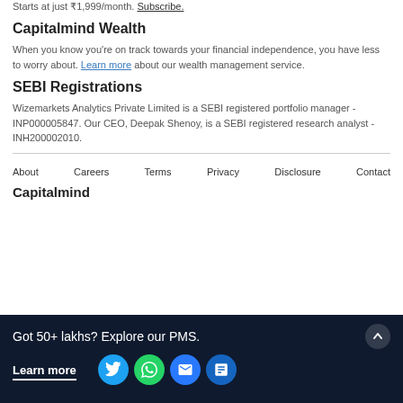Starts at just ₹1,999/month. Subscribe.
Capitalmind Wealth
When you know you're on track towards your financial independence, you have less to worry about. Learn more about our wealth management service.
SEBI Registrations
Wizemarkets Analytics Private Limited is a SEBI registered portfolio manager - INP000005847. Our CEO, Deepak Shenoy, is a SEBI registered research analyst - INH200002010.
About   Careers   Terms   Privacy   Disclosure   Contact
Capitalmind
Got 50+ lakhs? Explore our PMS.
Learn more